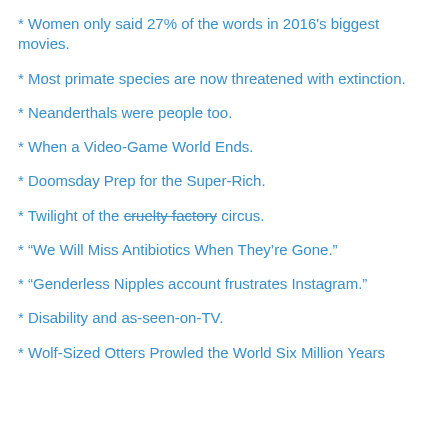* Women only said 27% of the words in 2016's biggest movies.
* Most primate species are now threatened with extinction.
* Neanderthals were people too.
* When a Video-Game World Ends.
* Doomsday Prep for the Super-Rich.
* Twilight of the cruelty factory circus.
* “We Will Miss Antibiotics When They’re Gone.”
* “Genderless Nipples account frustrates Instagram.”
* Disability and as-seen-on-TV.
* Wolf-Sized Otters Prowled the World Six Million Years